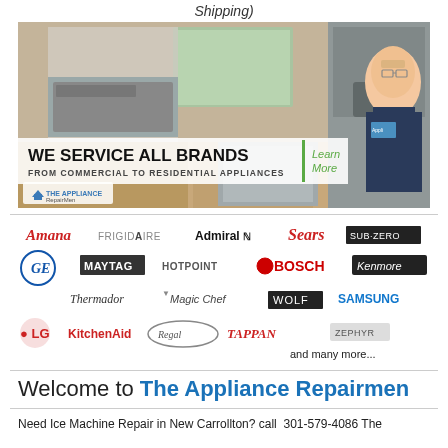Shipping)
[Figure (photo): Appliance repair company banner showing kitchen appliances and a technician. Text: WE SERVICE ALL BRANDS | Learn More | FROM COMMERCIAL TO RESIDENTIAL APPLIANCES. The Appliance Repairmen logo visible.]
[Figure (infographic): Brand logos strip including: Amana, FRIGIDAIRE, Admiral N, Sears, SUB-ZERO, GE, MAYTAG, HOTPOINT, BOSCH, Kenmore, Thermador, Magic Chef, WOLF, LG, KitchenAid, Regal, TAPPAN, SAMSUNG, Zephyr, and many more...]
Welcome to The Appliance Repairmen
Need Ice Machine Repair in New Carrollton? call  301-579-4086 The